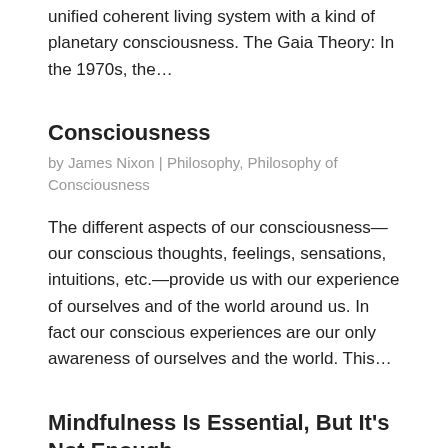unified coherent living system with a kind of planetary consciousness. The Gaia Theory: In the 1970s, the…
Consciousness
by James Nixon | Philosophy, Philosophy of Consciousness
The different aspects of our consciousness—our conscious thoughts, feelings, sensations, intuitions, etc.—provide us with our experience of ourselves and of the world around us. In fact our conscious experiences are our only awareness of ourselves and the world. This…
Mindfulness Is Essential, But It's Not Enough
by James Nixon | Philosophy, Philosophy of Consciousness